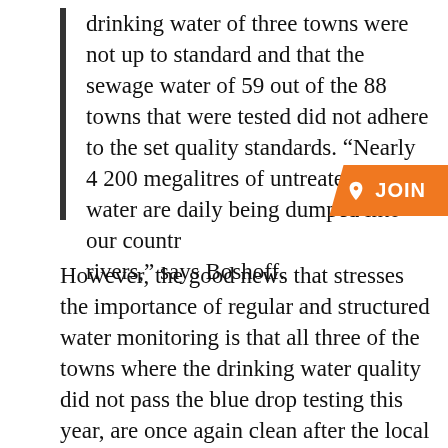drinking water of three towns were not up to standard and that the sewage water of 59 out of the 88 towns that were tested did not adhere to the set quality standards. “Nearly 4 200 megalitres of untreated sewage water are daily being dumped into our country’s rivers,” says Boshoff.
However, the good news that stresses the importance of regular and structured water monitoring is that all three of the towns where the drinking water quality did not pass the blue drop testing this year, are once again clean after the local authorities were pressured to act. The fact that three towns were found to not comply to the set drinking water standards as opposed to last year’s seven and that not one of the